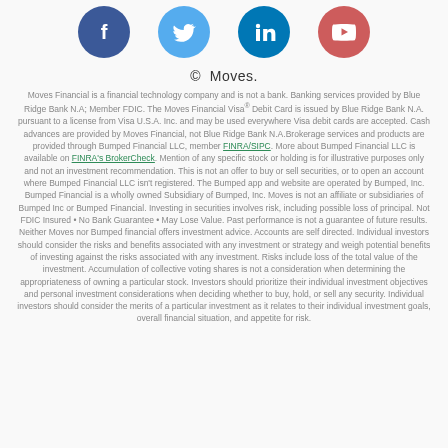[Figure (illustration): Row of four social media icons: Facebook (dark blue circle), Twitter (light blue circle), LinkedIn (blue circle), YouTube (red/salmon circle)]
© Moves.
Moves Financial is a financial technology company and is not a bank. Banking services provided by Blue Ridge Bank N.A; Member FDIC. The Moves Financial Visa® Debit Card is issued by Blue Ridge Bank N.A. pursuant to a license from Visa U.S.A. Inc. and may be used everywhere Visa debit cards are accepted. Cash advances are provided by Moves Financial, not Blue Ridge Bank N.A.Brokerage services and products are provided through Bumped Financial LLC, member FINRA/SIPC. More about Bumped Financial LLC is available on FINRA's BrokerCheck. Mention of any specific stock or holding is for illustrative purposes only and not an investment recommendation. This is not an offer to buy or sell securities, or to open an account where Bumped Financial LLC isn't registered. The Bumped app and website are operated by Bumped, Inc. Bumped Financial is a wholly owned Subsidiary of Bumped, Inc. Moves is not an affiliate or subsidiaries of Bumped Inc or Bumped Financial. Investing in securities involves risk, including possible loss of principal. Not FDIC Insured • No Bank Guarantee • May Lose Value. Past performance is not a guarantee of future results. Neither Moves nor Bumped financial offers investment advice. Accounts are self directed. Individual investors should consider the risks and benefits associated with any investment or strategy and weigh potential benefits of investing against the risks associated with any investment. Risks include loss of the total value of the investment. Accumulation of collective voting shares is not a consideration when determining the appropriateness of owning a particular stock. Investors should prioritize their individual investment objectives and personal investment considerations when deciding whether to buy, hold, or sell any security. Individual investors should consider the merits of a particular investment as it relates to their individual investment goals, overall financial situation, and appetite for risk.